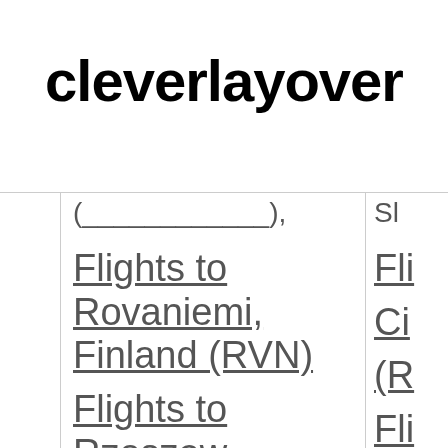cleverlayover
Flights to Rovaniemi, Finland (RVN)
Flights to Rzeszow,